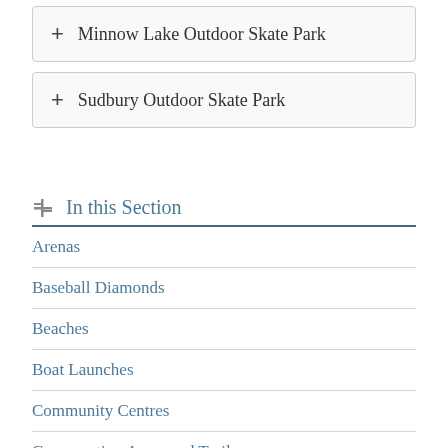+ Minnow Lake Outdoor Skate Park
+ Sudbury Outdoor Skate Park
In this Section
Arenas
Baseball Diamonds
Beaches
Boat Launches
Community Centres
Conservation Areas and Trails
Fitness Centres
Leisure Services Usage Tracking
Outdoor Rinks